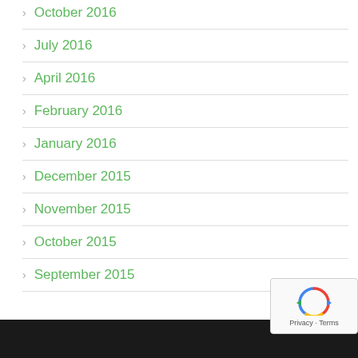October 2016
July 2016
April 2016
February 2016
January 2016
December 2015
November 2015
October 2015
September 2015